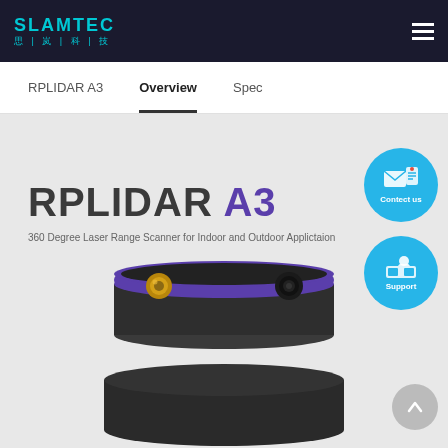SLAMTEC 思岚科技
RPLIDAR A3   Overview   Spec
[Figure (photo): RPLIDAR A3 product page screenshot showing the device — a black cylindrical 360-degree laser range scanner with purple accent ring — along with product title 'RPLIDAR A3', subtitle '360 Degree Laser Range Scanner for Indoor and Outdoor Applictaion', a cyan 'Contact us' circular button with mailbox icon, a cyan 'Support' circular button with headset icon, and a grey back-to-top button.]